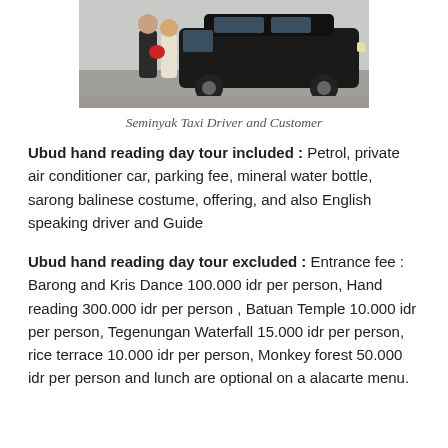[Figure (photo): A person and a woman standing in front of a black SUV vehicle on a gravel area. The person on the left wears dark clothes and the woman on the right wears light clothing and carries a red bag.]
Seminyak Taxi Driver and Customer
Ubud hand reading day tour included : Petrol, private air conditioner car, parking fee, mineral water bottle, sarong balinese costume, offering, and also English speaking driver and Guide
Ubud hand reading day tour excluded : Entrance fee : Barong and Kris Dance 100.000 idr per person, Hand reading 300.000 idr per person , Batuan Temple 10.000 idr per person, Tegenungan Waterfall 15.000 idr per person, rice terrace 10.000 idr per person, Monkey forest 50.000 idr per person and lunch are optional on a alacarte menu.